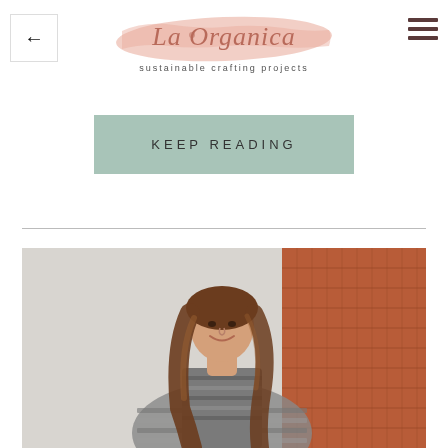La Organica — sustainable crafting projects
KEEP READING
[Figure (photo): Woman with long brown hair smiling, wearing a striped gray cardigan, photographed against a light gray wall and terracotta/rattan woven wall panel on the right side]